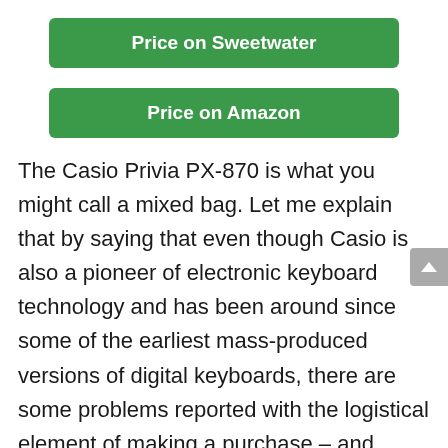Price on Sweetwater
Price on Amazon
The Casio Privia PX-870 is what you might call a mixed bag. Let me explain that by saying that even though Casio is also a pioneer of electronic keyboard technology and has been around since some of the earliest mass-produced versions of digital keyboards, there are some problems reported with the logistical element of making a purchase – and that's a real